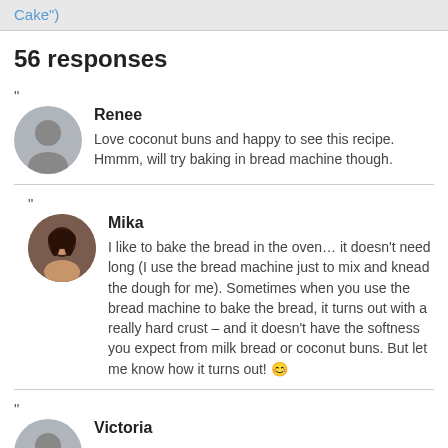Cake")
56 responses
"
Renee
Love coconut buns and happy to see this recipe. Hmmm, will try baking in bread machine though.
"
Mika
I like to bake the bread in the oven… it doesn't need long (I use the bread machine just to mix and knead the dough for me). Sometimes when you use the bread machine to bake the bread, it turns out with a really hard crust – and it doesn't have the softness you expect from milk bread or coconut buns. But let me know how it turns out! 😊
"
Victoria